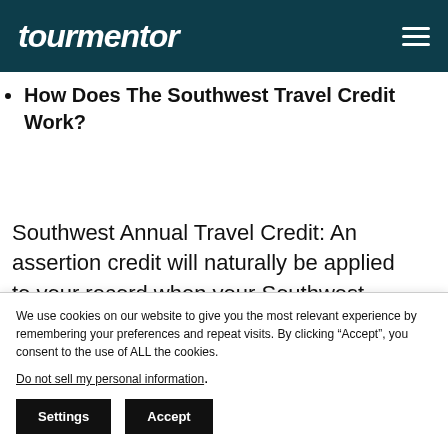tourmentor
How Does The Southwest Travel Credit Work?
Southwest Annual Travel Credit: An assertion credit will naturally be applied to your record when your Southwest Airlines
We use cookies on our website to give you the most relevant experience by remembering your preferences and repeat visits. By clicking “Accept”, you consent to the use of ALL the cookies. Do not sell my personal information. Settings Accept